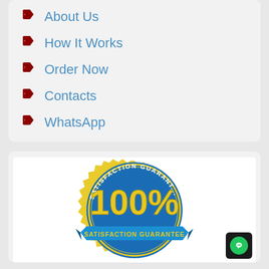About Us
How It Works
Order Now
Contacts
WhatsApp
[Figure (illustration): 100% Satisfaction Guarantee badge/seal — a circular blue and gold badge with jagged gold border, text reading SATISFACTION GUARANTEE around the top arc, 100% in large gold letters in the center, and a blue ribbon banner at the bottom reading SATISFACTION GUARANTEE]